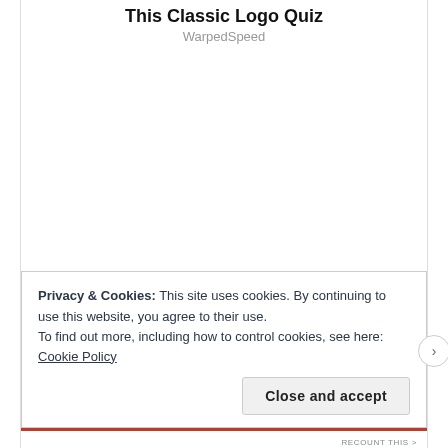This Classic Logo Quiz
WarpedSpeed
Privacy & Cookies: This site uses cookies. By continuing to use this website, you agree to their use.
To find out more, including how to control cookies, see here: Cookie Policy
Close and accept